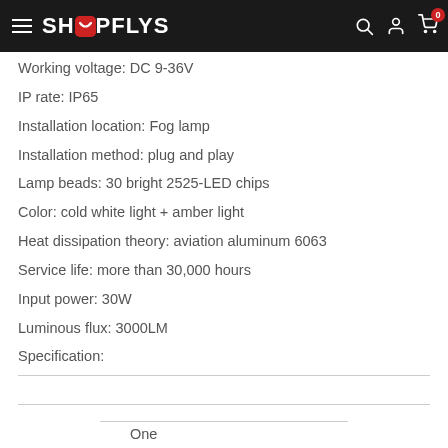SHOPFLYS
Working voltage: DC 9-36V
IP rate: IP65
Installation location: Fog lamp
Installation method: plug and play
Lamp beads: 30 bright 2525-LED chips
Color: cold white light + amber light
Heat dissipation theory: aviation aluminum 6063
Service life: more than 30,000 hours
Input power: 30W
Luminous flux: 3000LM
Specification:
One